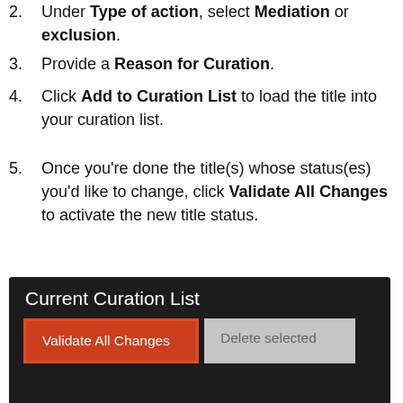Under Type of action, select Mediation or exclusion.
Provide a Reason for Curation.
Click Add to Curation List to load the title into your curation list.
Once you're done the title(s) whose status(es) you'd like to change, click Validate All Changes to activate the new title status.
[Figure (screenshot): Screenshot of the Current Curation List interface showing a dark background with the title 'Current Curation List', an orange 'Validate All Changes' button highlighted with a red border, and a grey 'Delete selected' button.]
Please note that clicking Validate All Changes is necessary for your curation changes to take effect. If you still see your titles in the curation list, then you haven't submitted the title curations yet.